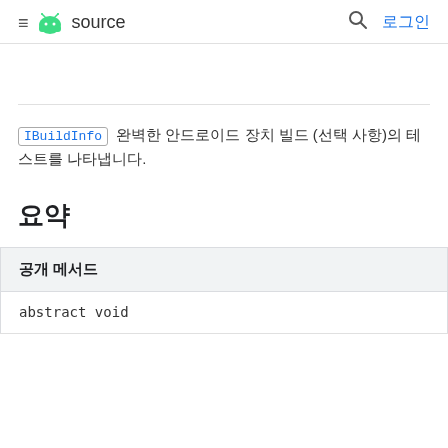≡ android source 🔍 로그인
IBuildInfo 완벽한 안드로이드 장치 빌드 (선택 사항)의 테스트를 나타냅니다.
요약
| 공개 메서드 |
| --- |
| abstract void |